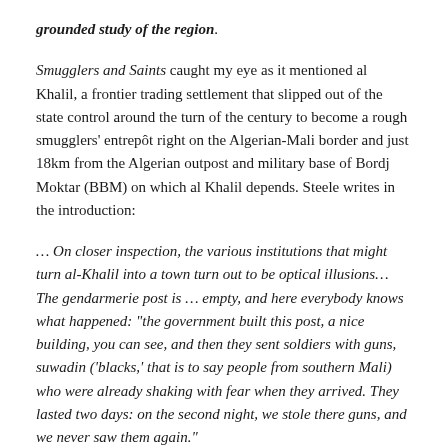grounded study of the region.
Smugglers and Saints caught my eye as it mentioned al Khalil, a frontier trading settlement that slipped out of the state control around the turn of the century to become a rough smugglers' entrepôt right on the Algerian-Mali border and just 18km from the Algerian outpost and military base of Bordj Moktar (BBM) on which al Khalil depends. Steele writes in the introduction:
... On closer inspection, the various institutions that might turn al-Khalil into a town turn out to be optical illusions... The gendarmerie post is ... empty, and here everybody knows what happened: "the government built this post, a nice building, you can see, and then they sent soldiers with guns, suwadin ('blacks,' that is to say people from southern Mali) who were already shaking with fear when they arrived. They lasted two days: on the second night, we stole there guns, and we never saw them again."